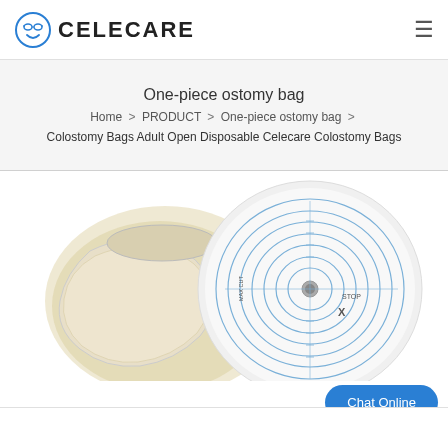[Figure (logo): Celecare logo with smiley face icon and bold CELECARE text]
One-piece ostomy bag
Home > PRODUCT > One-piece ostomy bag > Colostomy Bags Adult Open Disposable Celecare Colostomy Bags
[Figure (photo): Product photo of colostomy bag showing two views: a beige soft pouch and a white disc-shaped adhesive flange with blue concentric circles and measurement markings and a small central hole]
Chat Online